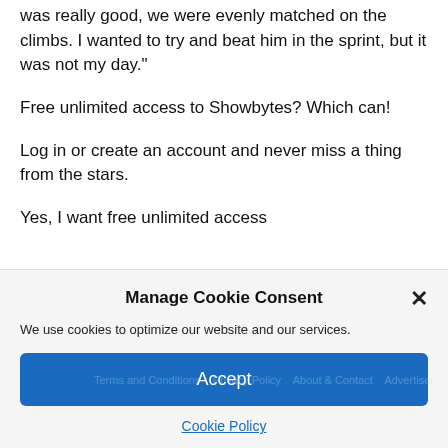was really good, we were evenly matched on the climbs. I wanted to try and beat him in the sprint, but it was not my day."
Free unlimited access to Showbytes? Which can!
Log in or create an account and never miss a thing from the stars.
Yes, I want free unlimited access
Manage Cookie Consent
We use cookies to optimize our website and our services.
Accept
Cookie Policy